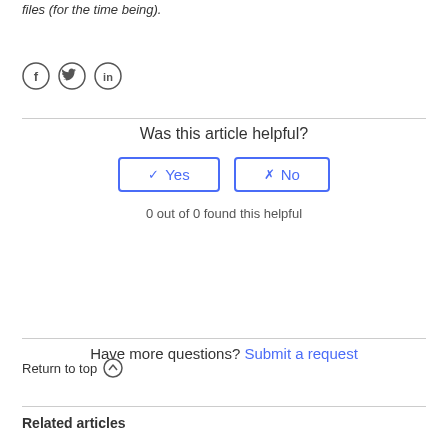Please keep in mind that positioning data only applies to SVG files (for the time being).
[Figure (infographic): Three social media share icons: Facebook (f), Twitter (bird), LinkedIn (in) in circular outlines]
Was this article helpful?
✓ Yes   ✗ No (two buttons)
0 out of 0 found this helpful
Have more questions? Submit a request
Return to top ↑
Related articles